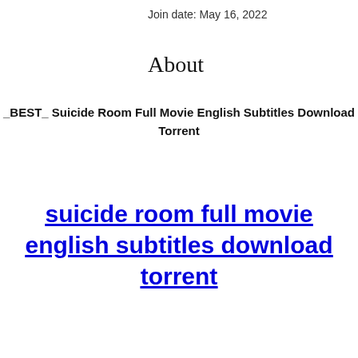Join date: May 16, 2022
About
_BEST_ Suicide Room Full Movie English Subtitles Download Torrent
suicide room full movie english subtitles download torrent